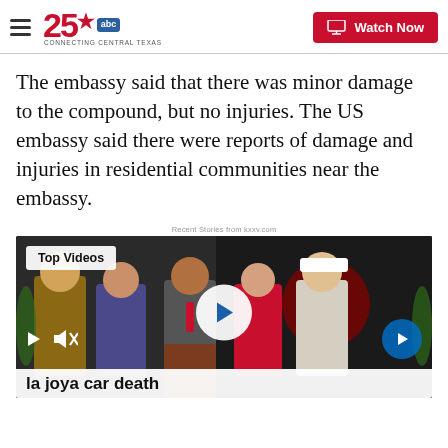KXXV 25 ABC Connecting Central Texas — Watch Now
The embassy said that there was minor damage to the compound, but no injuries. The US embassy said there were reports of damage and injuries in residential communities near the embassy.
Recent Stories from kxxv.com
[Figure (screenshot): Video thumbnail showing a press conference scene with several people standing at a podium with a red cross emblem. Overlay shows 'Top Videos' badge, a circular play button, playback controls at bottom left, next arrow at bottom right, and video title 'la joya car death' at the bottom.]